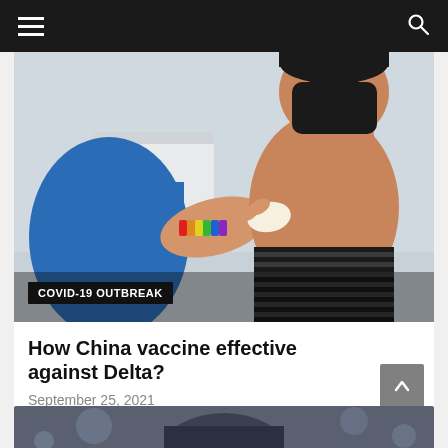Navigation bar with hamburger menu and search icon
[Figure (photo): A person wearing a black face mask and striped sleeveless top receiving a vaccination or having a bandage applied to their upper arm by a healthcare worker in blue scrubs wearing a rainbow bracelet.]
COVID-19 OUTBREAK
How China vaccine effective against Delta?
September 25, 2021
[Figure (photo): Partial view of a second article image showing a person, partially visible at the bottom of the page.]